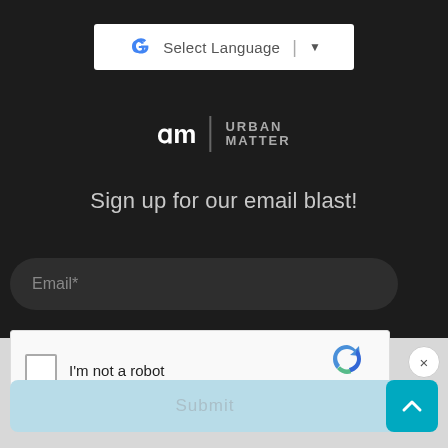[Figure (screenshot): Google Translate 'Select Language' dropdown bar with Google G logo]
[Figure (logo): Urban Matter logo: UM symbol and text URBAN MATTER]
Sign up for our email blast!
[Figure (screenshot): Email input field with placeholder text 'Email*']
[Figure (screenshot): reCAPTCHA widget with checkbox and 'I'm not a robot' label, reCAPTCHA logo, Privacy and Terms links]
[Figure (screenshot): Close (X) button circle]
[Figure (screenshot): Submit button (light blue) and scroll-to-top button (teal with chevron up)]